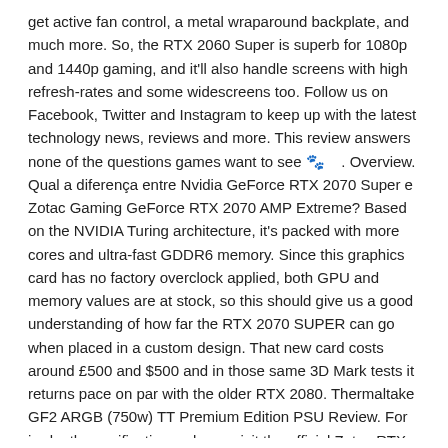get active fan control, a metal wraparound backplate, and much more. So, the RTX 2060 Super is superb for 1080p and 1440p gaming, and it'll also handle screens with high refresh-rates and some widescreens too. Follow us on Facebook, Twitter and Instagram to keep up with the latest technology news, reviews and more. This review answers none of the questions games want to see 🐾. Overview. Qual a diferença entre Nvidia GeForce RTX 2070 Super e Zotac Gaming GeForce RTX 2070 AMP Extreme? Based on the NVIDIA Turing architecture, it's packed with more cores and ultra-fast GDDR6 memory. Since this graphics card has no factory overclock applied, both GPU and memory values are at stock, so this should give us a good understanding of how far the RTX 2070 SUPER can go when placed in a custom design. That new card costs around £500 and $500 and in those same 3D Mark tests it returns pace on par with the older RTX 2080. Thermaltake GF2 ARGB (750w) TT Premium Edition PSU Review. For in-depth specifications, please visit the official Zotac RTX 2070 SUPER AMP Extreme product page here. Zotac's RTX 2070 Super AMP Extreme is priced only $10 higher than ... Computadores, eletrônica, tecnologia com o